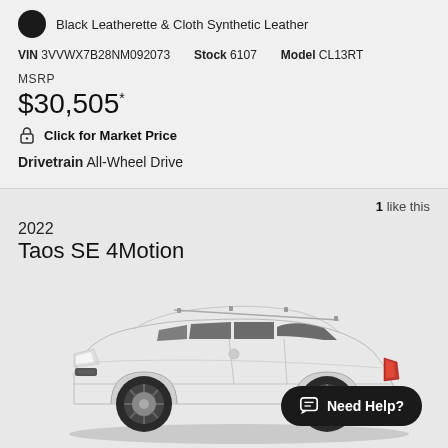Black Leatherette & Cloth Synthetic Leather
VIN 3VVWX7B28NM092073  Stock 6107  Model CL13RT
MSRP
$30,505*
Click for Market Price
Drivetrain All-Wheel Drive
1 like this
2022 Taos SE 4Motion
[Figure (photo): White 2022 Volkswagen Taos SE 4Motion SUV shown in side profile view on a light gray background]
Need Help?